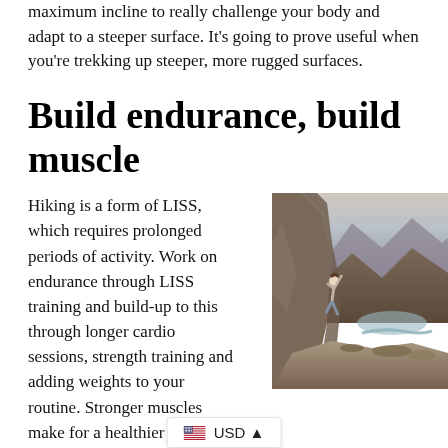maximum incline to really challenge your body and adapt to a steeper surface. It's going to prove useful when you're trekking up steeper, more rugged surfaces.
Build endurance, build muscle
Hiking is a form of LISS, which requires prolonged periods of activity. Work on endurance through LISS training and build-up to this through longer cardio sessions, strength training and adding weights to your routine. Stronger muscles make for a healthier you, which means you can push yourself harder and take on the challenges coming your way.
[Figure (photo): Person climbing a steep rocky mountain cliff face with a valley and winding river visible in the background below.]
USD
Up your nu...